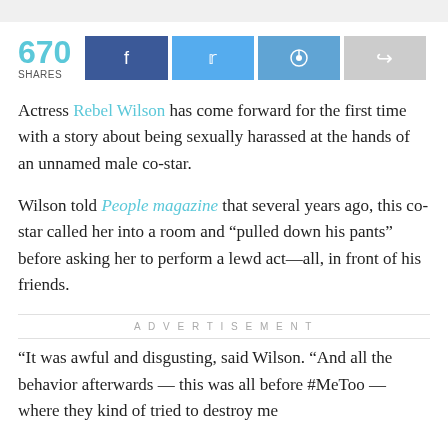[Figure (infographic): Social share bar showing 670 shares with Facebook, Twitter, Reddit, and generic share buttons]
Actress Rebel Wilson has come forward for the first time with a story about being sexually harassed at the hands of an unnamed male co-star.
Wilson told People magazine that several years ago, this co-star called her into a room and “pulled down his pants” before asking her to perform a lewd act—all, in front of his friends.
ADVERTISEMENT
“It was awful and disgusting, said Wilson. “And all the behavior afterwards — this was all before #MeToo — where they kind of tried to destroy me